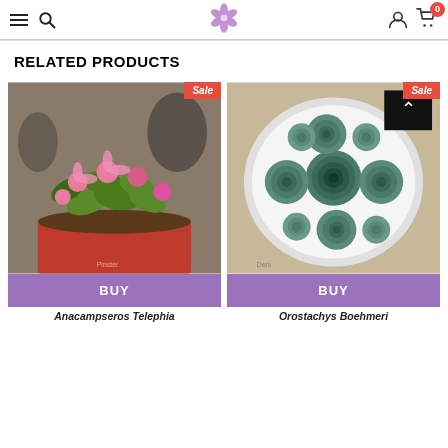Navigation bar with hamburger menu, search icon, flower logo, user icon, and cart (0)
RELATED PRODUCTS
[Figure (photo): Anacampseros Telephia succulent with pink flowers in a red pot, with a Sale tag]
[Figure (photo): Orostachys Boehmeri succulent rosettes in a white bowl, with a Sale tag and back-to-top button]
BUY (button for Anacampseros Telephia)
BUY (button for Orostachys Boehmeri)
Anacampseros Telephia
Orostachys Boehmeri